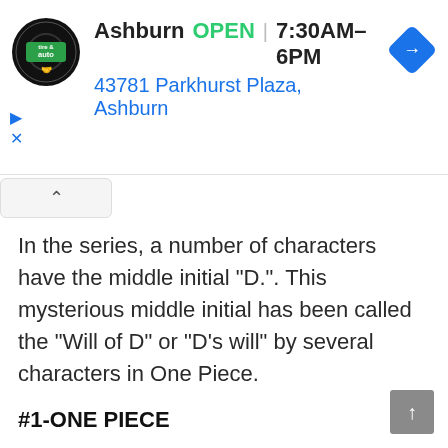[Figure (screenshot): Ad banner for Virginia Tire & Auto showing Ashburn location: OPEN 7:30AM–6PM, 43781 Parkhurst Plaza, Ashburn, with navigation arrow icon]
In the series, a number of characters have the middle initial “D.”. This mysterious middle initial has been called the “Will of D” or “D’s will” by several characters in One Piece.
#1-ONE PIECE